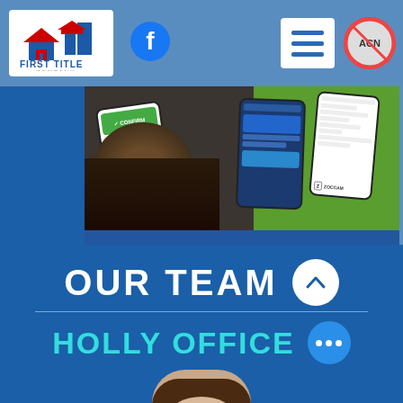[Figure (screenshot): Navigation bar with First Title Company logo, Facebook icon, hamburger menu button, and ACN circle icon on blue background]
[Figure (photo): Composite showing person using phone and multiple smartphone screenshots on dark and green background]
[Figure (infographic): Zoccam advertisement banner: 'Earnest Money Driving You Crazy / The simply smarter solution / Sending earnest money made easy' on blue background]
[Figure (photo): First Title Company promotional banner with house and money bags images, company logo, and social media icons]
OUR TEAM
HOLLY OFFICE